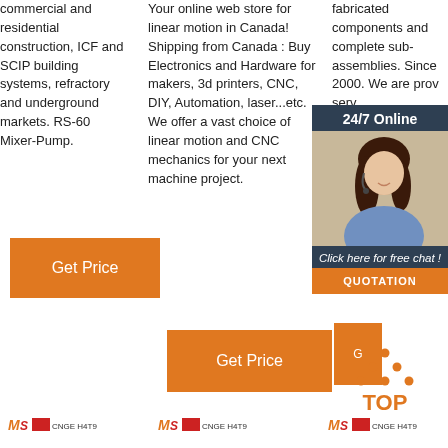commercial and residential construction, ICF and SCIP building systems, refractory and underground markets. RS-60 Mixer-Pump.
Your online web store for linear motion in Canada! Shipping from Canada : Buy Electronics and Hardware for makers, 3d printers, CNC, DIY, Automation, laser...etc. We offer a vast choice of linear motion and CNC mechanics for your next machine project.
fabricated components and complete sub-assemblies. Since 2000. We are providing services, prototyping, processes, precision components.
[Figure (infographic): 24/7 Online chat widget with woman wearing headset, dark blue background, 'Click here for free chat!' text, and orange QUOTATION button]
Get Price
Get Price
G
[Figure (logo): TOP icon with orange dots arranged in triangle above bold orange TOp text]
[Figure (logo): MS CNGE H4T9 logo - left footer]
[Figure (logo): MS CNGE H4T9 logo - center footer]
[Figure (logo): MS CNGE H4T9 logo - right footer]